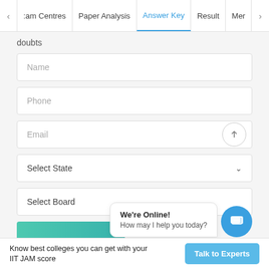< :am Centres | Paper Analysis | Answer Key | Result | Mer >
doubts
[Figure (screenshot): Web form with input fields: Name, Phone, Email, Select State, Select Board dropdowns, and a chat popup saying 'We're Online! How may I help you today?' with a blue chat icon button]
We're Online!
How may I help you today?
Know best colleges you can get with your IIT JAM score
Talk to Experts